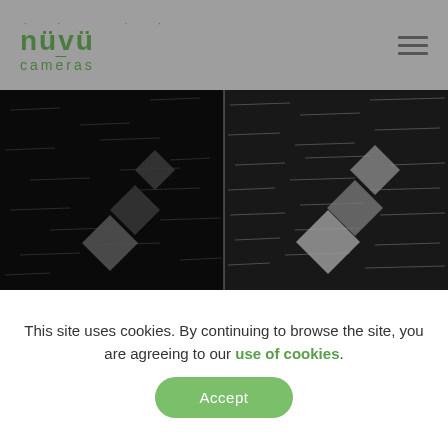[Figure (logo): Nüvü Cameras logo in green with dots above letters and 'cameras' text below]
[Figure (photo): Two side-by-side dark/night-vision camera images showing diamond-shaped calibration targets with streaks of light on black background]
This site uses cookies. By continuing to browse the site, you are agreeing to our use of cookies.
Accept